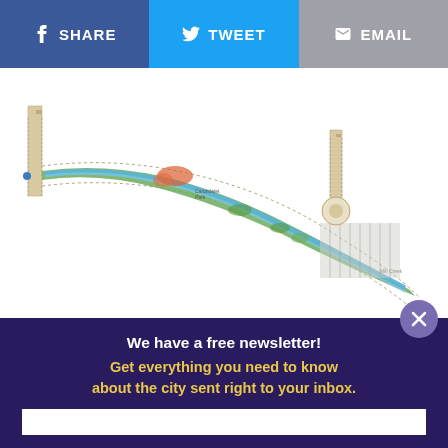[Figure (other): Social sharing buttons bar: Facebook SHARE (blue), Twitter TWEET (light blue), Email EMAIL (gray)]
[Figure (map): Aerial plan/map view of an urban corridor project showing a curving greenway with blue water features, green landscaping, and surrounding development, rendered in a planning/landscape architecture style.]
We have a free newsletter! Get everything you need to know about the city sent right to your inbox.